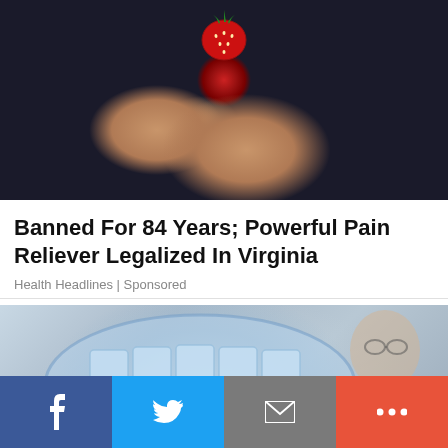[Figure (photo): Close-up photo of fingers holding a small red strawberry against a dark background]
Banned For 84 Years; Powerful Pain Reliever Legalized In Virginia
Health Headlines | Sponsored
[Figure (photo): Photo of ice pack tray with eggs and a man in the background on the right side]
[Figure (infographic): Social media sharing bar with Facebook, Twitter, Email, and More buttons]